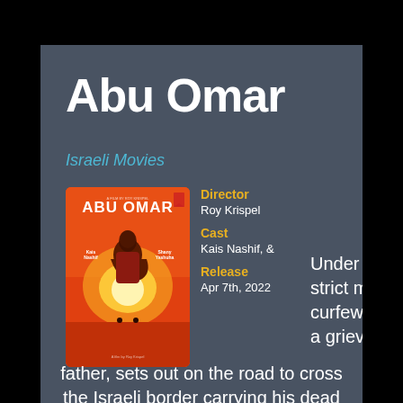Abu Omar
Israeli Movies
[Figure (illustration): Movie poster for Abu Omar featuring an illustrated man holding a glowing orb against an orange sunset background with ABU OMAR text]
Director
Roy Krispel
Cast
Kais Nashif, &
Release
Apr 7th, 2022
Under a very strict military curfew Salah, a grieving father, sets out on the road to cross the Israeli border carrying his dead son Omar in a